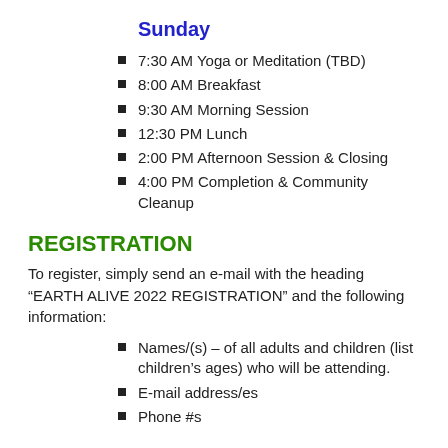Sunday
7:30 AM Yoga or Meditation (TBD)
8:00 AM Breakfast
9:30 AM Morning Session
12:30 PM Lunch
2:00 PM Afternoon Session & Closing
4:00 PM Completion & Community Cleanup
REGISTRATION
To register, simply send an e-mail with the heading “EARTH ALIVE 2022 REGISTRATION” and the following information:
Names/(s) – of all adults and children (list children’s ages) who will be attending.
E-mail address/es
Phone #s